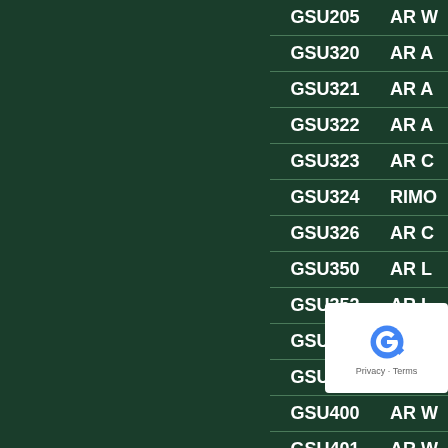| Course | Description |
| --- | --- |
| GSU205 | AR W... |
| GSU320 | AR A... |
| GSU321 | AR A... |
| GSU322 | AR A... |
| GSU323 | AR C... |
| GSU324 | RIMO... |
| GSU326 | AR C... |
| GSU350 | AR L... |
| GSU352 | AR L... |
| GSU353 | AR L... |
| GSU355 | AR L... |
| GSU400 | AR W... |
| GSU401 | AR W... |
| GSU403 | ... |
| GSU420 | AR A... |